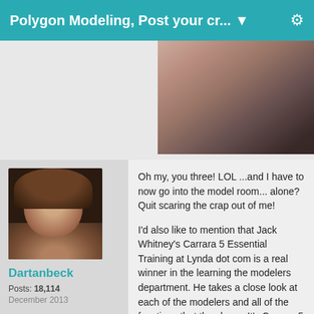Polygon Modeling, Post your cr... ▼
[Figure (photo): Partial view of a 3D rendered figure or model, showing skin/body against a dark background]
[Figure (photo): Avatar profile photo of a 3D rendered male character with long brown hair and bare shoulders against dark background]
Dartanbeck
Posts: 18,114
December 2013
Oh my, you three! LOL ...and I have to now go into the model room... alone? Quit scaring the crap out of me!
I'd also like to mention that Jack Whitney's Carrara 5 Essential Training at Lynda dot com is a real winner in the learning the modelers department. He takes a close look at each of the modelers and all of the functions that they have. It's Carrara 5 Pro...